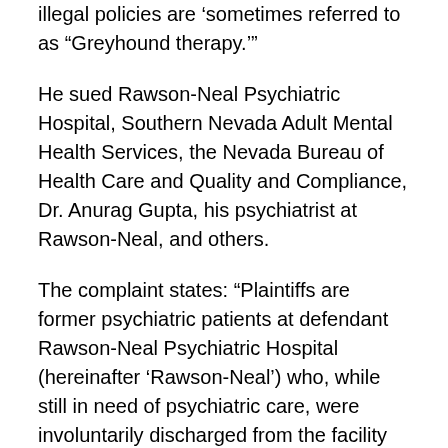illegal policies are 'sometimes referred to as "Greyhound therapy."'
He sued Rawson-Neal Psychiatric Hospital, Southern Nevada Adult Mental Health Services, the Nevada Bureau of Health Care and Quality and Compliance, Dr. Anurag Gupta, his psychiatrist at Rawson-Neal, and others.
The complaint states: “Plaintiffs are former psychiatric patients at defendant Rawson-Neal Psychiatric Hospital (hereinafter ‘Rawson-Neal’) who, while still in need of psychiatric care, were involuntarily discharged from the facility by defendants and their agents and employees, and sent to out-of-state destinations where defendants knew said patients would be unable to obtain proper treatment, care and housing. Plaintiffs were medicated before their discharge and required to leave the facility under the influence of powerful anti-psychotic/tranquilizing